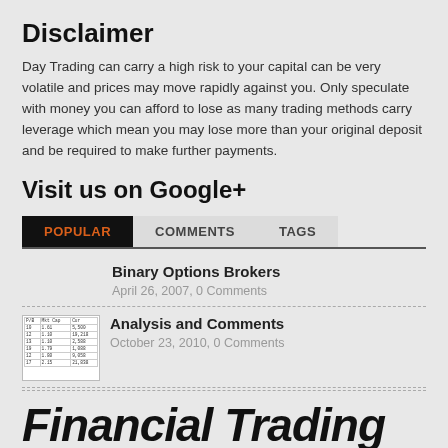Disclaimer
Day Trading can carry a high risk to your capital can be very volatile and prices may move rapidly against you. Only speculate with money you can afford to lose as many trading methods carry leverage which mean you may lose more than your original deposit and be required to make further payments.
Visit us on Google+
POPULAR | COMMENTS | TAGS (tab bar)
Binary Options Brokers
April 26, 2007, 0 Comments
Analysis and Comments
October 23, 2010, 0 Comments
Financial Trading